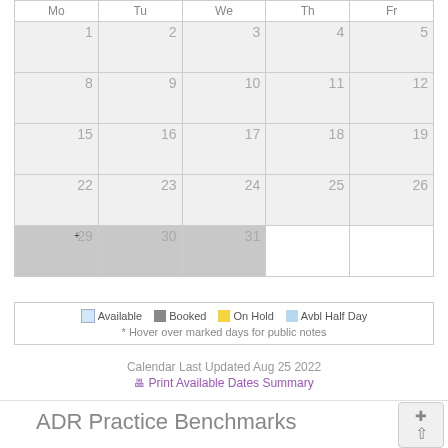| Mo | Tu | We | Th | Fr |
| --- | --- | --- | --- | --- |
| 1 | 2 | 3 | 4 | 5 |
| 8 | 9 | 10 | 11 | 12 |
| 15 | 16 | 17 | 18 | 19 |
| 22 | 23 | 24 | 25 | 26 |
| 29 | 30 | 31 |  |  |
Available  Booked  On Hold  Avbl Half Day
* Hover over marked days for public notes
Calendar Last Updated Aug 25 2022
Print Available Dates Summary
ADR Practice Benchmarks